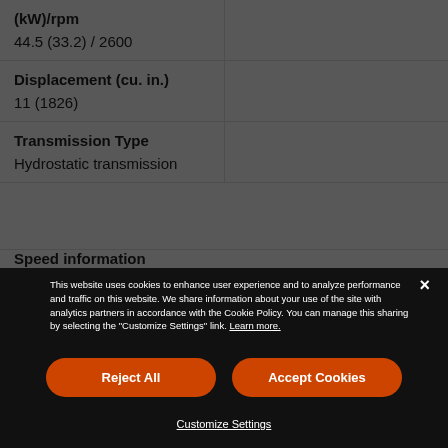| (kW)/rpm |  |
| 44.5 (33.2) / 2600 |  |
| Displacement (cu. in.) |  |
| 11 (1826) |  |
| Transmission Type |  |
| Hydrostatic transmission |  |
| Speed information |  |
This website uses cookies to enhance user experience and to analyze performance and traffic on this website. We share information about your use of the site with analytics partners in accordance with the Cookie Policy. You can manage this sharing by selecting the "Customize Settings" link. Learn more.
Reject All
Accept Cookies
Customize Settings